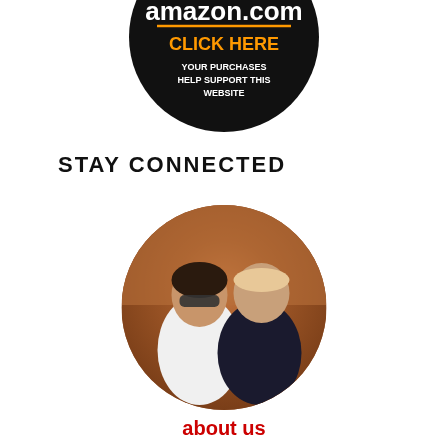[Figure (logo): Amazon.com circular badge with black background. Text reads 'need something?' in orange/yellow, 'amazon.com' in white with orange underline, 'CLICK HERE' in orange bold, 'YOUR PURCHASES HELP SUPPORT THIS WEBSITE' in white small text.]
STAY CONNECTED
[Figure (photo): Circular cropped photo of a man and woman smiling, standing outdoors in front of a reddish rocky landscape (possibly Bryce Canyon). Woman on left wearing sunglasses and white top, man on right wearing dark shirt.]
about us